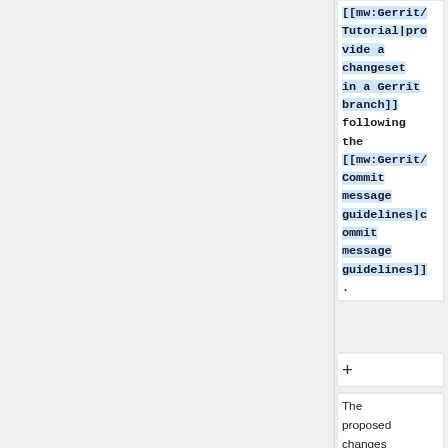[[mw:Gerrit/Tutorial|provide a changeset in a Gerrit branch]] following the [[mw:Gerrit/Commit message guidelines|commit message guidelines]].
+
The proposed changes will b...